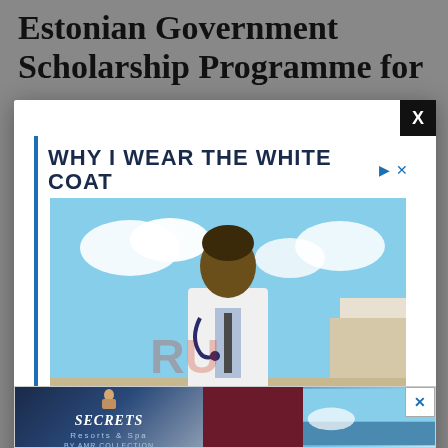Estonian Government Scholarship Programme for
[Figure (photo): Advertisement modal overlay for Ross University School of Medicine featuring 'WHY I WEAR THE WHITE COAT' campaign with photo of Tyeler Checkley, a medical student in white coat outdoors, with quote 'To be an advocate for change' and Ross University School of Medicine logo.]
and a… offered by Estonian institutions of higher… n
[Figure (photo): Bottom banner advertisement for Secrets Resorts & Spa with partial images of beach/resort scenes and an X close button.]